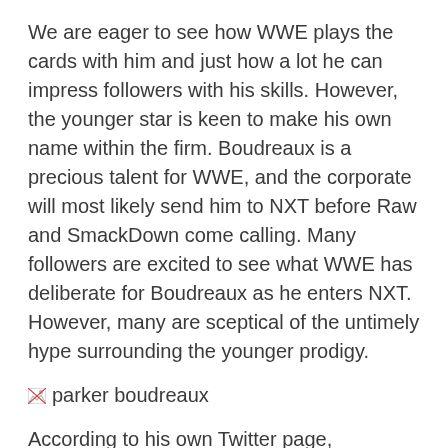We are eager to see how WWE plays the cards with him and just how a lot he can impress followers with his skills. However, the younger star is keen to make his own name within the firm. Boudreaux is a precious talent for WWE, and the corporate will most likely send him to NXT before Raw and SmackDown come calling. Many followers are excited to see what WWE has deliberate for Boudreaux as he enters NXT. However, many are sceptical of the untimely hype surrounding the younger prodigy.
[Figure (photo): Broken image placeholder labeled 'parker boudreaux']
According to his own Twitter page, Boudreaux sits at 6'5, weighing 315 kilos. What is known concerning the future “Next Big Thing” for WWE